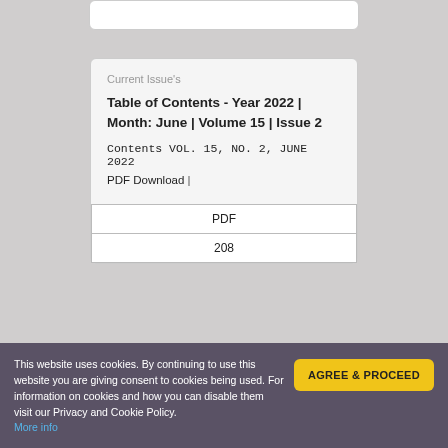Current Issue's
Table of Contents - Year 2022 | Month: June | Volume 15 | Issue 2
Contents VOL. 15, NO. 2, JUNE 2022
PDF Download |
| PDF |
| --- |
| 208 |
This website uses cookies. By continuing to use this website you are giving consent to cookies being used. For information on cookies and how you can disable them visit our Privacy and Cookie Policy. More info